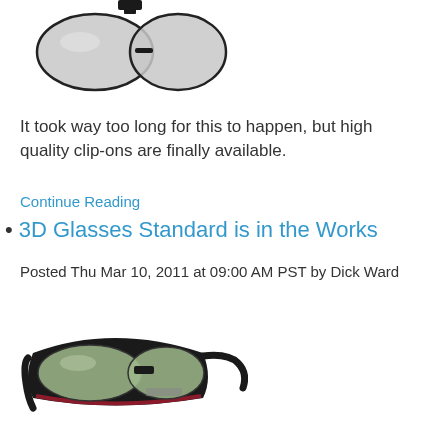[Figure (photo): Clip-on 3D glasses adapter with two large oval grey lenses and a black clip mechanism on top]
It took way too long for this to happen, but high quality clip-ons are finally available.
Continue Reading
3D Glasses Standard is in the Works
Posted Thu Mar 10, 2011 at 09:00 AM PST by Dick Ward
[Figure (photo): Black 3D active shutter glasses with tinted green lenses, red accent on the frame, and extended temple arms]